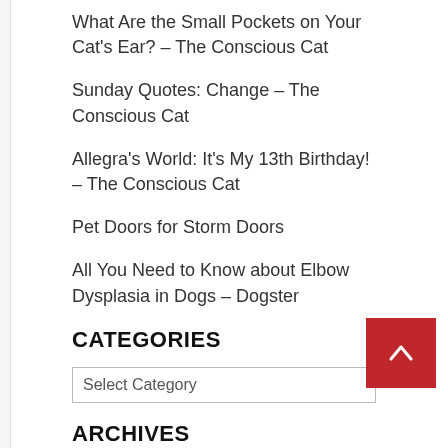What Are the Small Pockets on Your Cat's Ear? – The Conscious Cat
Sunday Quotes: Change – The Conscious Cat
Allegra's World: It's My 13th Birthday! – The Conscious Cat
Pet Doors for Storm Doors
All You Need to Know about Elbow Dysplasia in Dogs – Dogster
CATEGORIES
Select Category
ARCHIVES
Select Month